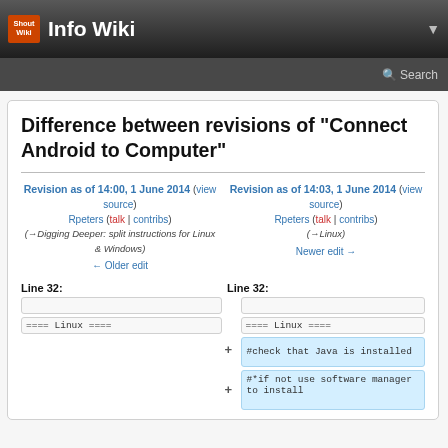Shout Wiki  Info Wiki
Difference between revisions of "Connect Android to Computer"
Revision as of 14:00, 1 June 2014 (view source)
Rpeters (talk | contribs)
(→Digging Deeper: split instructions for Linux & Windows)
← Older edit
Revision as of 14:03, 1 June 2014 (view source)
Rpeters (talk | contribs)
(→Linux)
Newer edit →
Line 32:
Line 32:
==== Linux ====
==== Linux ====
#check that Java is installed
#*if not use software manager to install